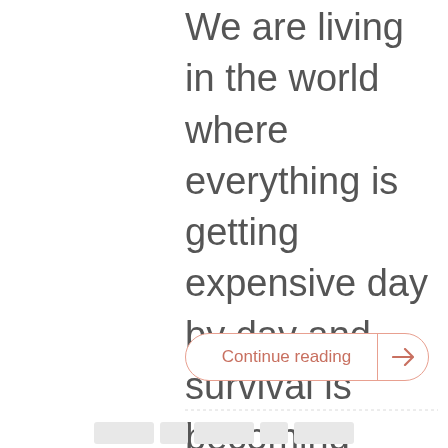We are living in the world where everything is getting expensive day by day and survival is becoming tougher. It has become the concern of the majority of individuals to earn extra money other than their jobs. Thus, we look for ways to make money online using various methods we come across on the web. [...]
Continue reading →